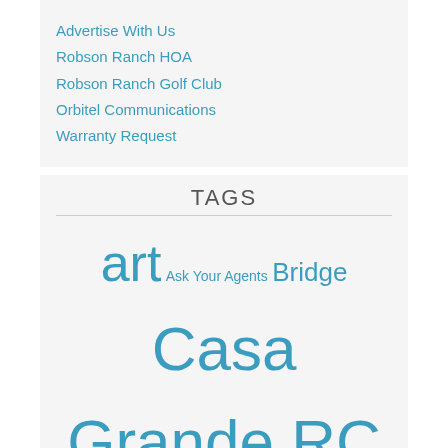Advertise With Us
Robson Ranch HOA
Robson Ranch Golf Club
Orbitel Communications
Warranty Request
TAGS
art Ask Your Agents Bridge Casa Grande RC Flyers charities Charity City of Eloy classes clubs Conservation Corner events Fishing fitness Friendship games Golf Governors of Arizona Hiking Club Hunting Mahjong Material Girls Movies Neighbors notices pickleball Pickleball Club Politics Robson RC